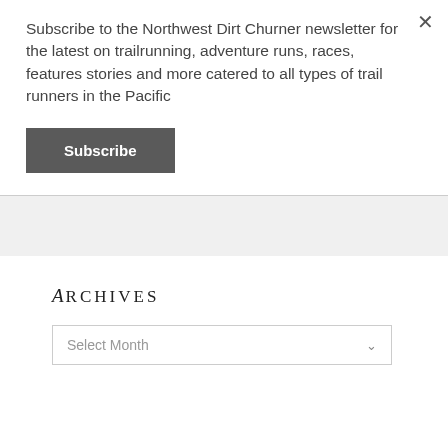Subscribe to the Northwest Dirt Churner newsletter for the latest on trailrunning, adventure runs, races, features stories and more catered to all types of trail runners in the Pacific
Subscribe
Get the newsletter
Archives
Select Month